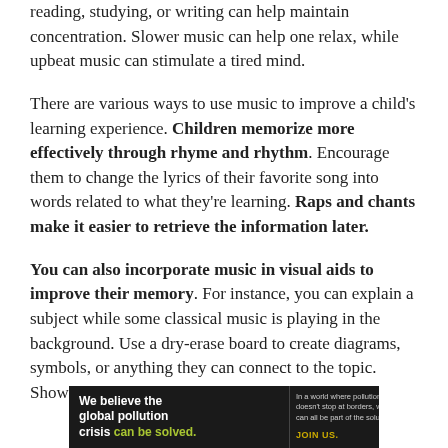reading, studying, or writing can help maintain concentration. Slower music can help one relax, while upbeat music can stimulate a tired mind.
There are various ways to use music to improve a child's learning experience. Children memorize more effectively through rhyme and rhythm. Encourage them to change the lyrics of their favorite song into words related to what they're learning. Raps and chants make it easier to retrieve the information later.
You can also incorporate music in visual aids to improve their memory. For instance, you can explain a subject while some classical music is playing in the background. Use a dry-erase board to create diagrams, symbols, or anything they can connect to the topic. Show the same images and play the same
[Figure (other): Advertisement banner for Pure Earth organization. Dark background with text: 'We believe the global pollution crisis can be solved.' and 'In a world where pollution doesn't stop at borders, we can all be part of the solution. JOIN US.' with Pure Earth diamond logo.]